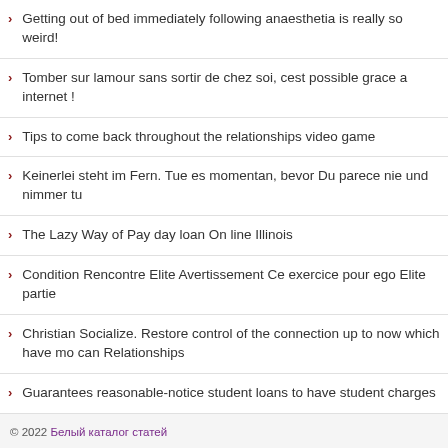Getting out of bed immediately following anaesthetia is really so weird!
Tomber sur lamour sans sortir de chez soi, cest possible grace a internet !
Tips to come back throughout the relationships video game
Keinerlei steht im Fern. Tue es momentan, bevor Du parece nie und nimmer tu
The Lazy Way of Pay day loan On line Illinois
Condition Rencontre Elite Avertissement Ce exercice pour ego Elite partie
Christian Socialize. Restore control of the connection up to now which have mo can Relationships
Guarantees reasonable-notice student loans to have student charges
Anyone else possess limits towards sized checks they are prepared to cash mo deposit
© 2022 Белый каталог статей